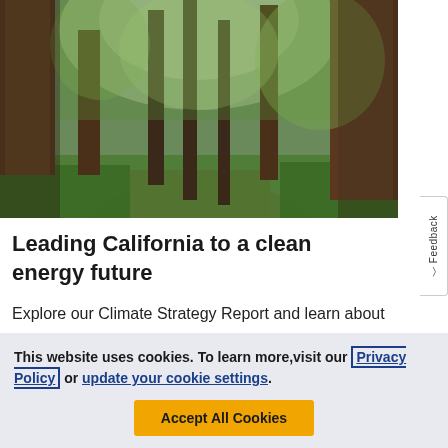[Figure (photo): Photograph of a tall redwood forest with lush green ferns and undergrowth, misty atmosphere, path visible at the bottom]
Leading California to a clean energy future
Explore our Climate Strategy Report and learn about our climate goals to go beyond net zero energy and
This website uses cookies. To learn more, visit our Privacy Policy or update your cookie settings.
Accept All Cookies